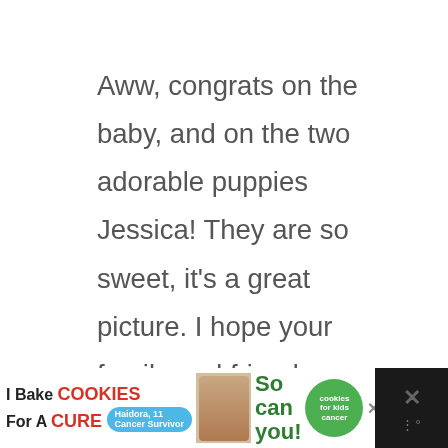Aww, congrats on the baby, and on the two adorable puppies Jessica! They are so sweet, it's a great picture. I hope your family and friends were surprised! I'll happily write your name in the credit of the image and point it to the image on your blog if you have one?
[Figure (screenshot): Orange heart/like button circle icon and share icon with count of 2 displayed on the right sidebar]
[Figure (screenshot): Advertisement banner at bottom: I Bake COOKIES For A CURE with image of girl and cookies badge, So can you text, and close X button]